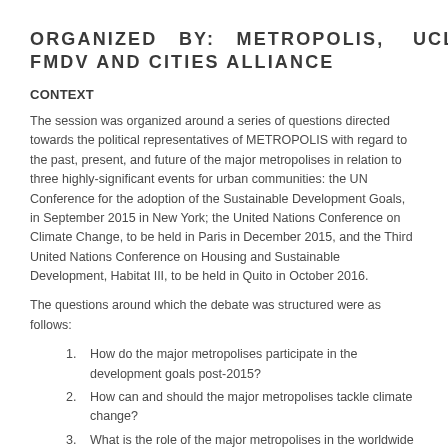ORGANIZED BY: METROPOLIS, UCLG, FMDV AND CITIES ALLIANCE
CONTEXT
The session was organized around a series of questions directed towards the political representatives of METROPOLIS with regard to the past, present, and future of the major metropolises in relation to three highly-significant events for urban communities: the UN Conference for the adoption of the Sustainable Development Goals, in September 2015 in New York; the United Nations Conference on Climate Change, to be held in Paris in December 2015, and the Third United Nations Conference on Housing and Sustainable Development, Habitat III, to be held in Quito in October 2016.
The questions around which the debate was structured were as follows:
How do the major metropolises participate in the development goals post-2015?
How can and should the major metropolises tackle climate change?
What is the role of the major metropolises in the worldwide...